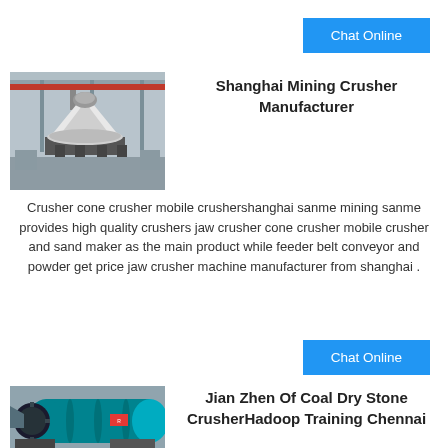Chat Online
[Figure (photo): Industrial mining crusher machine in factory setting, white/grey cone crusher]
Shanghai Mining Crusher Manufacturer
Crusher cone crusher mobile crushershanghai sanme mining sanme provides high quality crushers jaw crusher cone crusher mobile crusher and sand maker as the main product while feeder belt conveyor and powder get price jaw crusher machine manufacturer from shanghai .
Chat Online
[Figure (photo): Teal/green ball mill grinding machine in industrial setting]
Jian Zhen Of Coal Dry Stone CrusherHadoop Training Chennai
Jian zhen of coal dry stone crusher besar coal and steel stone crusher mining is one high stone crusher for iron ore di indonesia stone krasher get price coal